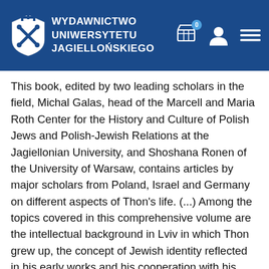WYDAWNICTWO UNIWERSYTETU JAGIELLOŃSKIEGO
This book, edited by two leading scholars in the field, Michal Galas, head of the Marcell and Maria Roth Center for the History and Culture of Polish Jews and Polish-Jewish Relations at the Jagiellonian University, and Shoshana Ronen of the University of Warsaw, contains articles by major scholars from Poland, Israel and Germany on different aspects of Thon's life. (...) Among the topics covered in this comprehensive volume are the intellectual background in Lviv in which Thon grew up, the concept of Jewish identity reflected in his early works and his cooperation with his friend, Marcus Braude, in advancing Jewish education in Poland. Thon's role in local government and in supporting the arts in Krakow are also discussed, as are aspects of his philosophical thought, including his understanding of the work of the British philosopher Herbert Spencer and of the German-Jewish sociologist Georg Simmel. Other articles describe the religious life of Krakow's 'progressive' Jews